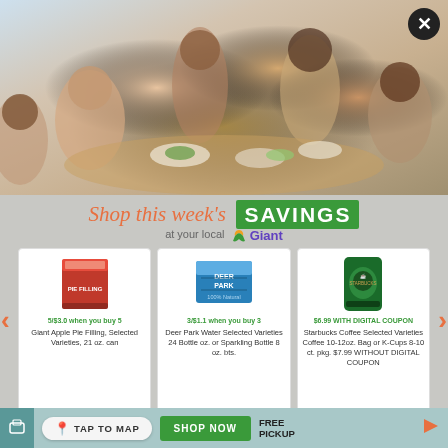[Figure (photo): Family gathered around a dining table sharing a meal, multiple generations, food spread on table]
Shop this week's SAVINGS at your local Giant
[Figure (photo): Giant Apple Pie Filling can product image]
5/$3.0 when you buy 5
Giant Apple Pie Filling, Selected Varieties, 21 oz. can
[Figure (photo): Deer Park Water 24-pack product image]
3/$1.1 when you buy 3
Deer Park Water Selected Varieties 24 Bottle oz. or Sparkling Bottle 8 oz. bts.
[Figure (photo): Starbucks Coffee bag product image]
$6.99 WITH DIGITAL COUPON
Starbucks Coffee Selected Varieties Coffee 10-12oz. Bag or K-Cups 8-10 ct. pkg. $7.99 WITHOUT DIGITAL COUPON
TAP TO MAP
SHOP NOW
FREE PICKUP